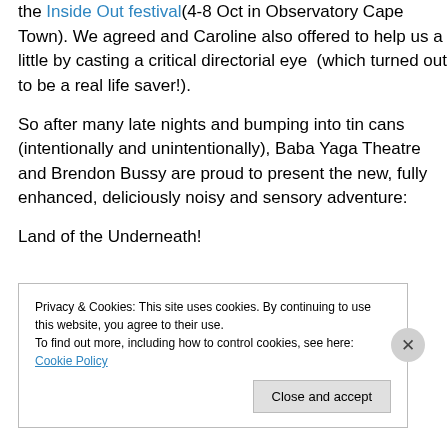the Inside Out festival(4-8 Oct in Observatory Cape Town). We agreed and Caroline also offered to help us a little by casting a critical directorial eye  (which turned out to be a real life saver!).
So after many late nights and bumping into tin cans (intentionally and unintentionally), Baba Yaga Theatre and Brendon Bussy are proud to present the new, fully enhanced, deliciously noisy and sensory adventure:
Land of the Underneath!
Privacy & Cookies: This site uses cookies. By continuing to use this website, you agree to their use.
To find out more, including how to control cookies, see here: Cookie Policy